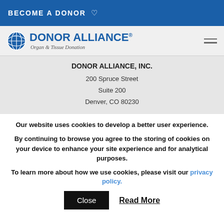BECOME A DONOR ♡
[Figure (logo): Donor Alliance logo with globe icon and text 'DONOR ALLIANCE® Organ & Tissue Donation' and hamburger menu icon]
DONOR ALLIANCE, INC.
200 Spruce Street
Suite 200
Denver, CO 80230
Our website uses cookies to develop a better user experience.
By continuing to browse you agree to the storing of cookies on your device to enhance your site experience and for analytical purposes.
To learn more about how we use cookies, please visit our privacy policy.
Close   Read More